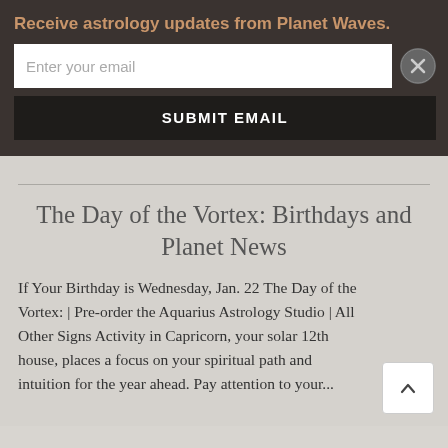Receive astrology updates from Planet Waves.
[Figure (screenshot): Email subscription form with input field labeled 'Enter your email', a close button (X circle), and a dark 'SUBMIT EMAIL' button]
The Day of the Vortex: Birthdays and Planet News
If Your Birthday is Wednesday, Jan. 22 The Day of the Vortex: | Pre-order the Aquarius Astrology Studio | All Other Signs Activity in Capricorn, your solar 12th house, places a focus on your spiritual path and intuition for the year ahead. Pay attention to...